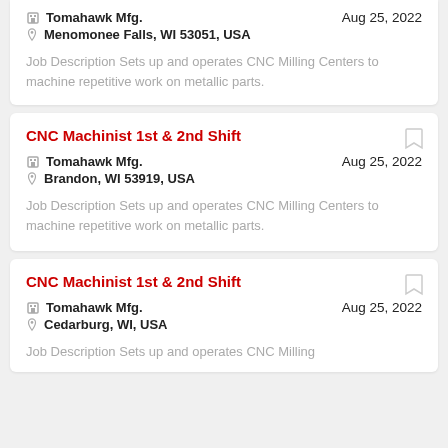Tomahawk Mfg. | Aug 25, 2022 | Menomonee Falls, WI 53051, USA
Job Description Sets up and operates CNC Milling Centers to machine repetitive work on metallic parts.
CNC Machinist 1st & 2nd Shift
Tomahawk Mfg. | Aug 25, 2022 | Brandon, WI 53919, USA
Job Description Sets up and operates CNC Milling Centers to machine repetitive work on metallic parts.
CNC Machinist 1st & 2nd Shift
Tomahawk Mfg. | Aug 25, 2022 | Cedarburg, WI, USA